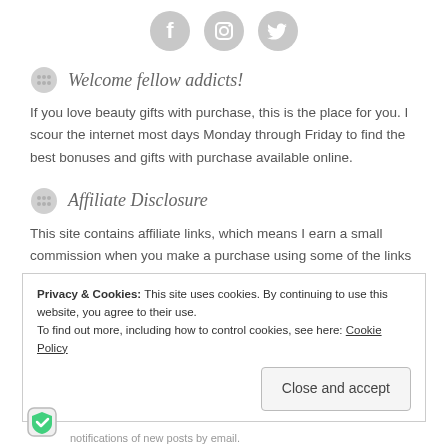[Figure (illustration): Three gray circular social media icons: Facebook, Instagram, Twitter]
Welcome fellow addicts!
If you love beauty gifts with purchase, this is the place for you. I scour the internet most days Monday through Friday to find the best bonuses and gifts with purchase available online.
Affiliate Disclosure
This site contains affiliate links, which means I earn a small commission when you make a purchase using some of the links on my site. Thank you for supporting my site!
Privacy & Cookies: This site uses cookies. By continuing to use this website, you agree to their use.
To find out more, including how to control cookies, see here: Cookie Policy
Close and accept
notifications of new posts by email.